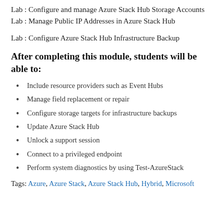Lab : Configure and manage Azure Stack Hub Storage Accounts Lab : Manage Public IP Addresses in Azure Stack Hub
Lab : Configure Azure Stack Hub Infrastructure Backup
After completing this module, students will be able to:
Include resource providers such as Event Hubs
Manage field replacement or repair
Configure storage targets for infrastructure backups
Update Azure Stack Hub
Unlock a support session
Connect to a privileged endpoint
Perform system diagnostics by using Test-AzureStack
Tags: Azure, Azure Stack, Azure Stack Hub, Hybrid, Microsoft